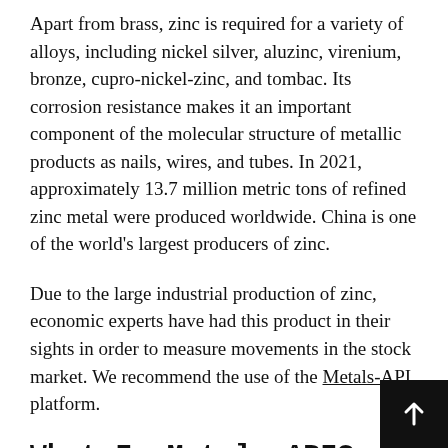Apart from brass, zinc is required for a variety of alloys, including nickel silver, aluzinc, virenium, bronze, cupro-nickel-zinc, and tombac. Its corrosion resistance makes it an important component of the molecular structure of metallic products as nails, wires, and tubes. In 2021, approximately 13.7 million metric tons of refined zinc metal were produced worldwide. China is one of the world's largest producers of zinc.
Due to the large industrial production of zinc, economic experts have had this product in their sights in order to measure movements in the stock market. We recommend the use of the Metals-API platform.
What Is Metals-API?
Metals-API gathers market data prices from a range of trade sources and organizations all around the world a variety of formats and frequencies. Commercial